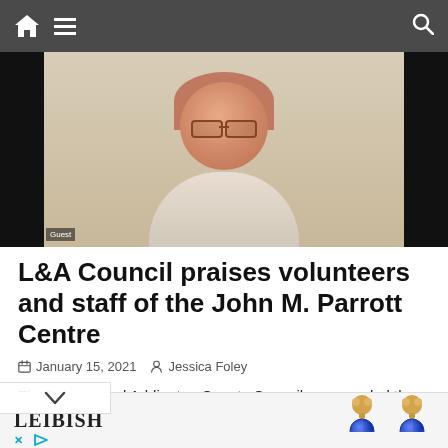Navigation bar with home, menu, and search icons
[Figure (screenshot): Video call screenshot showing a woman with short reddish hair and glasses wearing a turtleneck, visible from chest up. Room background visible. Guest label in lower left corner.]
L&A Council praises volunteers and staff of the John M. Parrott Centre
January 15, 2021   Jessica Foley
The Lennox and Addington County Council commended the Chair of the John M. Parrott Centre Family Council, n Babcock, at their virtual meeting on Wednesday,
[Figure (photo): Advertisement banner for LEIBISH jewelry brand showing gold earrings with blue sapphire stones]